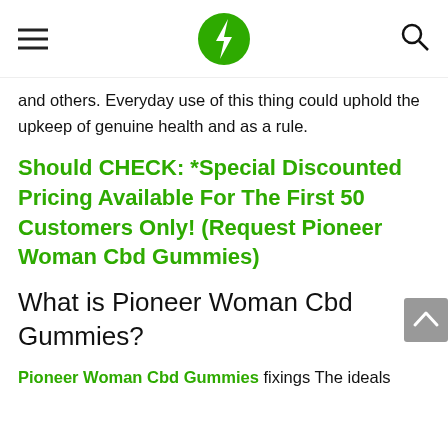Navigation header with hamburger menu, green lightning bolt logo, and search icon
and others. Everyday use of this thing could uphold the upkeep of genuine health and as a rule.
Should CHECK: *Special Discounted Pricing Available For The First 50 Customers Only! (Request Pioneer Woman Cbd Gummies)
What is Pioneer Woman Cbd Gummies?
Pioneer Woman Cbd Gummies fixings The ideals